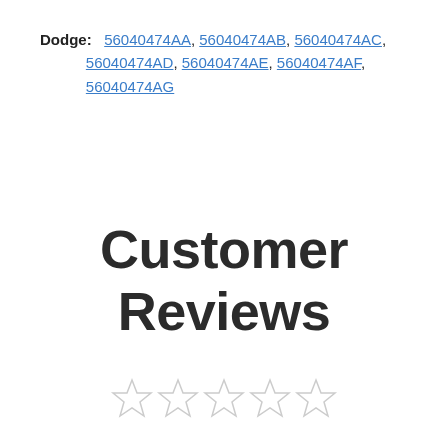Dodge: 56040474AA, 56040474AB, 56040474AC, 56040474AD, 56040474AE, 56040474AF, 56040474AG
Customer Reviews
[Figure (other): Five empty (hollow) star icons representing a 0-star rating]